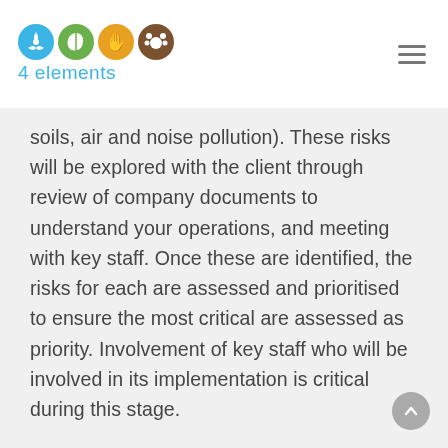4 elements
soils, air and noise pollution). These risks will be explored with the client through review of company documents to understand your operations, and meeting with key staff. Once these are identified, the risks for each are assessed and prioritised to ensure the most critical are assessed as priority. Involvement of key staff who will be involved in its implementation is critical during this stage.
2. EMP Preparation